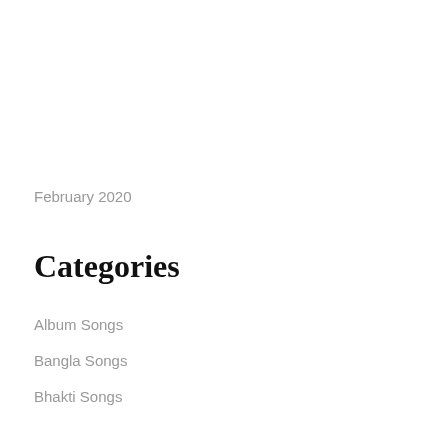February 2020
Categories
Album Songs
Bangla Songs
Bhakti Songs